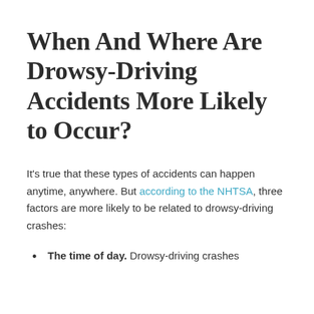When And Where Are Drowsy-Driving Accidents More Likely to Occur?
It's true that these types of accidents can happen anytime, anywhere. But according to the NHTSA, three factors are more likely to be related to drowsy-driving crashes:
The time of day. Drowsy-driving crashes